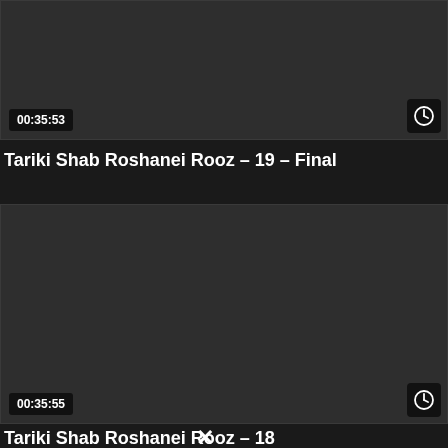[Figure (screenshot): Dark video thumbnail with timestamp 00:35:53 at bottom left and clock icon at bottom right]
Tariki Shab Roshanei Rooz – 19 – Final
[Figure (screenshot): Dark video thumbnail with timestamp 00:35:55 at bottom left and clock icon at bottom right]
Tariki Shab Roshanei Rooz – 18